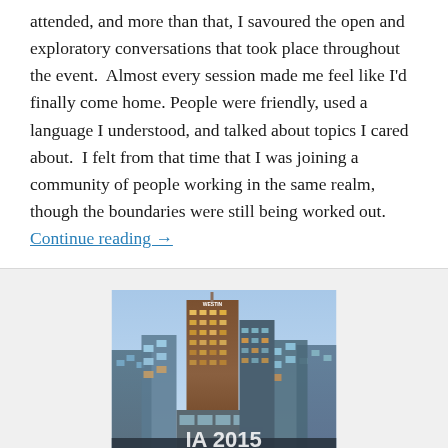attended, and more than that, I savoured the open and exploratory conversations that took place throughout the event.  Almost every session made me feel like I'd finally come home. People were friendly, used a language I understood, and talked about topics I cared about.  I felt from that time that I was joining a community of people working in the same realm, though the boundaries were still being worked out. Continue reading →
[Figure (photo): City skyline at dusk showing tall modern skyscrapers including a building with 'Westin' sign on top, illuminated windows, blue sky backdrop]